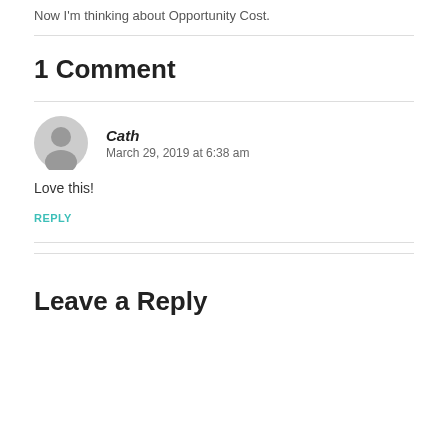Now I'm thinking about Opportunity Cost.
1 Comment
Cath
March 29, 2019 at 6:38 am
Love this!
REPLY
Leave a Reply